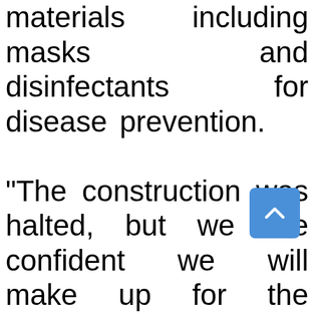materials including masks and disinfectants for disease prevention. "The construction was halted, but we are confident we will make up for the delays," Mei Jiansong, who is in charge of the project on site, told